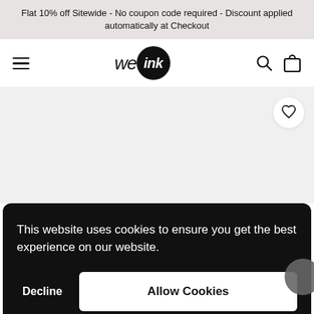Flat 10% off Sitewide - No coupon code required - Discount applied automatically at Checkout
[Figure (logo): WeInk logo: 'we' in italic text followed by 'ink' in white italic text inside a black circle]
[Figure (illustration): Product image area (light gray placeholder) with a star/wishlist button in top right corner]
This website uses cookies to ensure you get the best experience on our website.
Decline
Allow Cookies